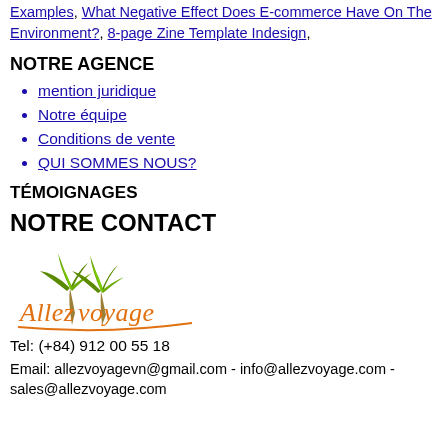Examples, What Negative Effect Does E-commerce Have On The Environment?, 8-page Zine Template Indesign,
NOTRE AGENCE
mention juridique
Notre équipe
Conditions de vente
QUI SOMMES NOUS?
TÉMOIGNAGES
NOTRE CONTACT
[Figure (logo): Allez Voyage travel agency logo with orange cursive text and green palm trees]
Tel: (+84) 912 00 55 18
Email: allezvoyagevn@gmail.com - info@allezvoyage.com - sales@allezvoyage.com